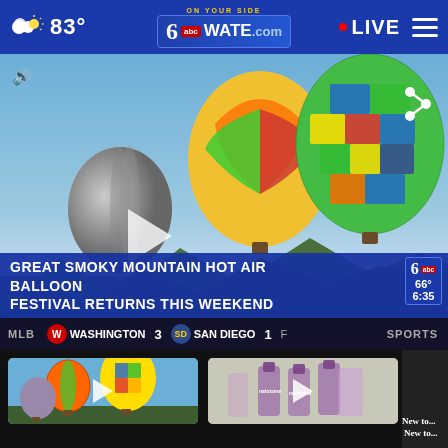83° WATE.com — LIVE
[Figure (screenshot): Hot air balloon festival video still showing colorful hot air balloons over mountains with lower-third chyron reading GREAT SMOKY MOUNTAIN HOT AIR BALLOON FESTIVAL RETURNS THIS WEEKEND]
GREAT SMOKY MOUNTAIN HOT AIR BALLOON FESTIVAL RETURNS THIS WEEKEND
MLB  WASHINGTON 3  SAN DIEGO 1  SPORTS
[Figure (photo): Thumbnail of hot air balloons at Great Smoky Mountains festival]
Great Smoky Mountains Hot Air Balloon Festival...
[Figure (photo): Thumbnail of medical/naloxone vials image for 1st responders story]
1st responders face...
New to...